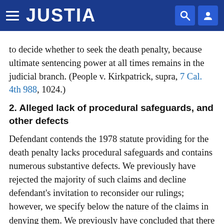JUSTIA
to decide whether to seek the death penalty, because ultimate sentencing power at all times remains in the judicial branch. (People v. Kirkpatrick, supra, 7 Cal. 4th 988, 1024.)
2. Alleged lack of procedural safeguards, and other defects
Defendant contends the 1978 statute providing for the death penalty lacks procedural safeguards and contains numerous substantive defects. We previously have rejected the majority of such claims and decline defendant's invitation to reconsider our rulings; however, we specify below the nature of the claims in denying them. We previously have concluded that there is no [9 Cal. 4th 153] requirement that the statute (§ 190.3) define which factors are aggravating and which are mitigating, and the factors need not be labeled